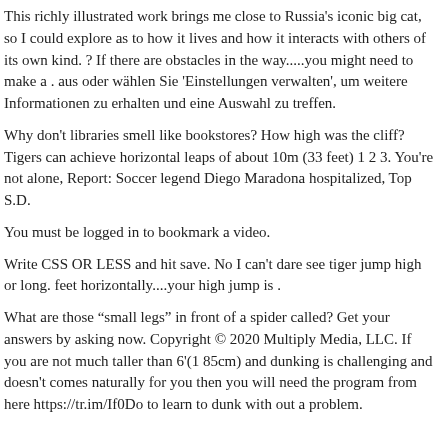This richly illustrated work brings me close to Russia's iconic big cat, so I could explore as to how it lives and how it interacts with others of its own kind. ? If there are obstacles in the way.....you might need to make a . aus oder wählen Sie 'Einstellungen verwalten', um weitere Informationen zu erhalten und eine Auswahl zu treffen.
Why don't libraries smell like bookstores? How high was the cliff? Tigers can achieve horizontal leaps of about 10m (33 feet) 1 2 3. You're not alone, Report: Soccer legend Diego Maradona hospitalized, Top S.D.
You must be logged in to bookmark a video.
Write CSS OR LESS and hit save. No I can't dare see tiger jump high or long. feet horizontally....your high jump is .
What are those “small legs” in front of a spider called? Get your answers by asking now. Copyright © 2020 Multiply Media, LLC. If you are not much taller than 6'(1 85cm) and dunking is challenging and doesn't comes naturally for you then you will need the program from here https://tr.im/If0Do to learn to dunk with out a problem.